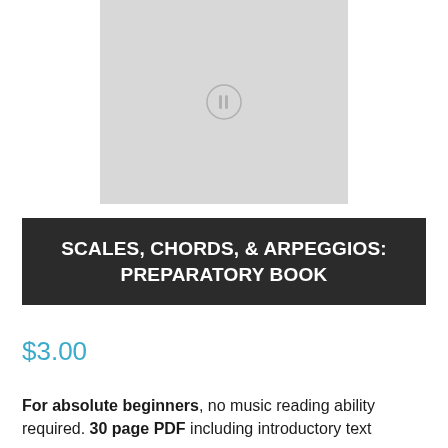[Figure (illustration): Gray placeholder book cover image with a small circular music/speaker icon in the lower center]
SCALES, CHORDS, & ARPEGGIOS: PREPARATORY BOOK
$3.00
For absolute beginners, no music reading ability required. 30 page PDF including introductory text